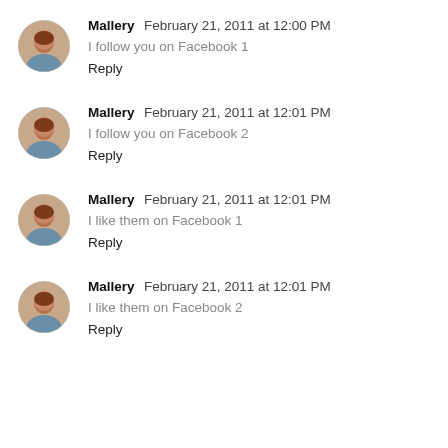Mallery  February 21, 2011 at 12:00 PM
I follow you on Facebook 1
Reply
Mallery  February 21, 2011 at 12:01 PM
I follow you on Facebook 2
Reply
Mallery  February 21, 2011 at 12:01 PM
I like them on Facebook 1
Reply
Mallery  February 21, 2011 at 12:01 PM
I like them on Facebook 2
Reply